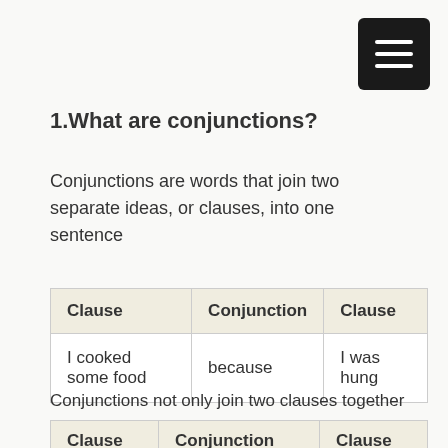[Figure (other): Menu button (hamburger icon) - black rounded rectangle with three white horizontal bars]
1.What are conjunctions?
Conjunctions are words that join two separate ideas, or clauses, into one sentence
| Clause | Conjunction | Clause |
| --- | --- | --- |
| I cooked some food | because | I was hung |
Conjunctions not only join two clauses together but they also tell us how the two clauses are related. Here are some examples:
| Clause | Conjunction | Clause |
| --- | --- | --- |